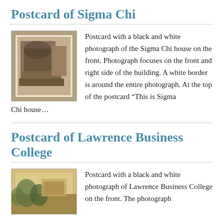Postcard of Sigma Chi
[Figure (photo): Black and white photograph of the Sigma Chi house on a postcard]
Postcard with a black and white photograph of the Sigma Chi house on the front. Photograph focuses on the front and right side of the building. A white border is around the entire photograph. At the top of the postcard "This is Sigma Chi house...
Postcard of Lawrence Business College
[Figure (photo): Black and white photograph of Lawrence Business College on a postcard]
Postcard with a black and white photograph of Lawrence Business College on the front. The photograph...